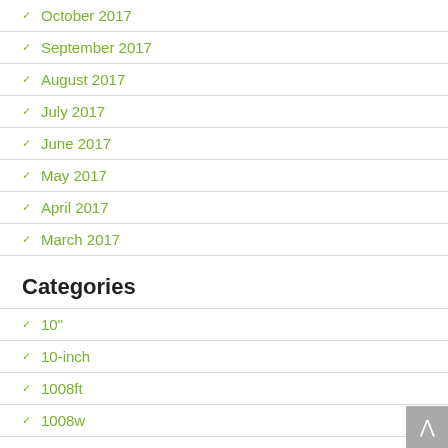October 2017
September 2017
August 2017
July 2017
June 2017
May 2017
April 2017
March 2017
Categories
10"
10-inch
1008ft
1008w